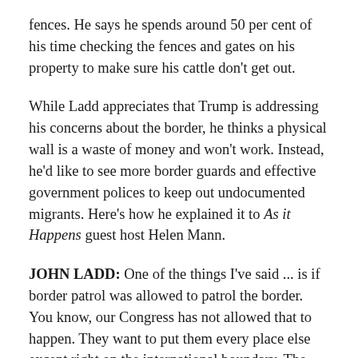fences. He says he spends around 50 per cent of his time checking the fences and gates on his property to make sure his cattle don't get out.
While Ladd appreciates that Trump is addressing his concerns about the border, he thinks a physical wall is a waste of money and won't work. Instead, he'd like to see more border guards and effective government polices to keep out undocumented migrants. Here's how he explained it to As it Happens guest host Helen Mann.
JOHN LADD: One of the things I've said ... is if border patrol was allowed to patrol the border. You know, our Congress has not allowed that to happen. They want to put them every place else except right on the international boundary. The fact is, if you put agents